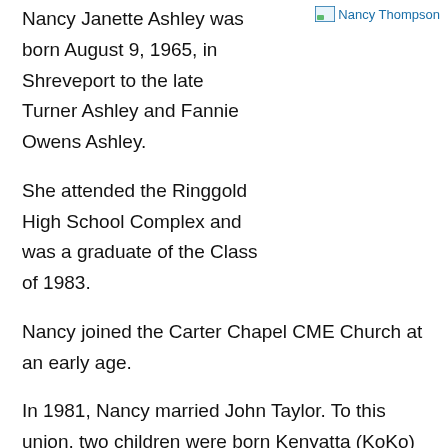Nancy Janette Ashley was born August 9, 1965, in Shreveport to the late Turner Ashley and Fannie Owens Ashley.
[Figure (photo): Photo placeholder labeled 'Nancy Thompson' with small image icon]
She attended the Ringgold High School Complex and was a graduate of the Class of 1983.
Nancy joined the Carter Chapel CME Church at an early age.
In 1981, Nancy married John Taylor. To this union, two children were born Kenyatta (KoKo) and